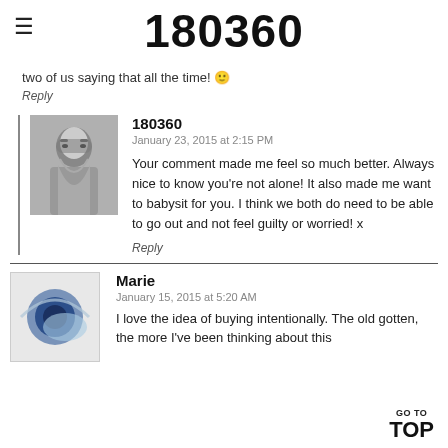180360
two of us saying that all the time! 😊
Reply
180360
January 23, 2015 at 2:15 PM
Your comment made me feel so much better. Always nice to know you're not alone! It also made me want to babysit for you. I think we both do need to be able to go out and not feel guilty or worried! x
Reply
Marie
January 15, 2015 at 5:20 AM
I love the idea of buying intentionally. The old gotten, the more I've been thinking about this